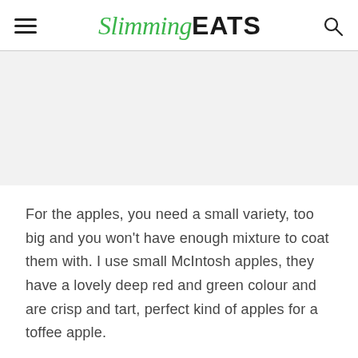Slimming EATS
[Figure (photo): Light grey placeholder image area, no visible image content]
For the apples, you need a small variety, too big and you won't have enough mixture to coat them with. I use small McIntosh apples, they have a lovely deep red and green colour and are crisp and tart, perfect kind of apples for a toffee apple.